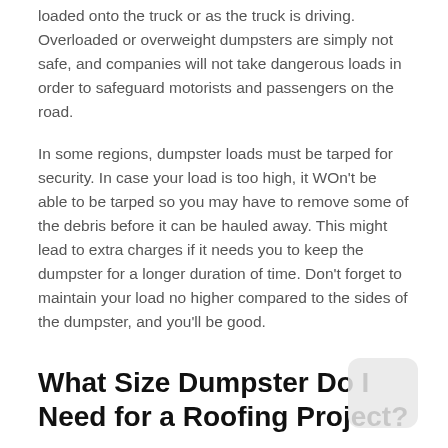loaded onto the truck or as the truck is driving. Overloaded or overweight dumpsters are simply not safe, and companies will not take dangerous loads in order to safeguard motorists and passengers on the road.
In some regions, dumpster loads must be tarped for security. In case your load is too high, it WOn't be able to be tarped so you may have to remove some of the debris before it can be hauled away. This might lead to extra charges if it needs you to keep the dumpster for a longer duration of time. Don't forget to maintain your load no higher compared to the sides of the dumpster, and you'll be good.
What Size Dumpster Do I Need for a Roofing Project?
Choosing a dumpster size requires some educated guesswork. It's often problematic for people to estimate the sizes that they